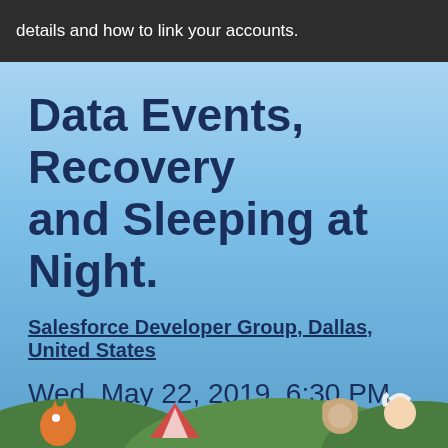details and how to link your accounts.
Data Events, Recovery and Sleeping at Night.
Salesforce Developer Group, Dallas, United States
Wed, May 22, 2019, 6:30 PM (CDT)
[Figure (infographic): Social sharing icons: Facebook, Twitter, LinkedIn, Pinterest, Email]
In-person event
[Figure (illustration): Cartoon camping scene with Salesforce mascots including Astro and Einstein characters on green hills]